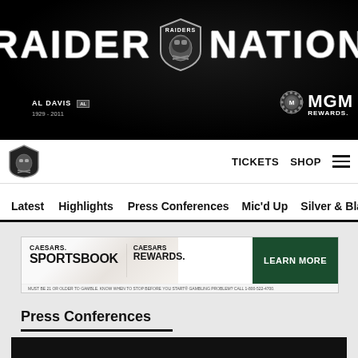[Figure (logo): Raiders Nation header banner with large white text 'RAIDER NATION', Raiders shield logo in center, Al Davis memorial 1929-2011 in lower left, MGM Rewards logo in lower right]
[Figure (logo): Raiders shield/helmet logo in navigation bar]
TICKETS  SHOP  ☰
Latest  Highlights  Press Conferences  Mic'd Up  Silver & Black
[Figure (screenshot): Caesars Sportsbook advertisement banner: CAESARS. SPORTSBOOK | CAESARS REWARDS. LEARN MORE button. Must be 21 or older to gamble. Know when to stop before you start. Gambling problem? Call 1-800-522-4700.]
Press Conferences
[Figure (screenshot): Black video player area at bottom of page]